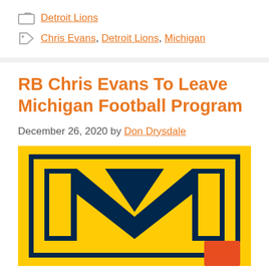Detroit Lions
Chris Evans, Detroit Lions, Michigan
RB Chris Evans To Leave Michigan Football Program
December 26, 2020 by Don Drysdale
[Figure (logo): Michigan Wolverines block M logo on yellow/gold background with navy blue M and border, partial orange element in lower right]